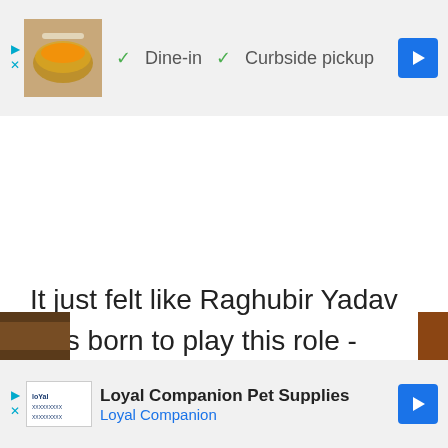[Figure (other): Top advertisement banner showing a food image with Dine-in and Curbside pickup options, play and close controls, and navigation arrow button]
It just felt like Raghubir Yadav was born to play this role - there's no other words for it. His rustic charm, his annoyingly lovable bureaucratic mannerisms, the way he played off Neena Gupta's character, it all worked perfectly in sync.
[Figure (other): Bottom advertisement banner for Loyal Companion Pet Supplies with logo, brand name, and navigation arrow button]